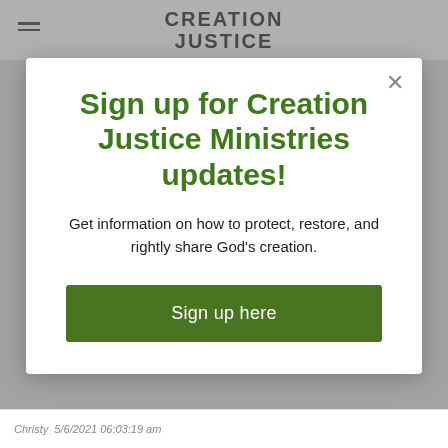CREATION JUSTICE
Sign up for Creation Justice Ministries updates!
Get information on how to protect, restore, and rightly share God's creation.
Sign up here
Christy  5/6/2021 06:03:19 am